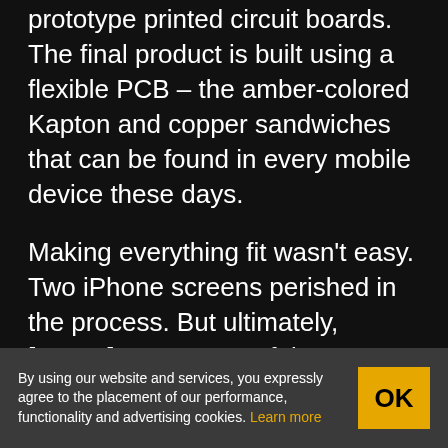prototype printed circuit boards. The final product is built using a flexible PCB – the amber-colored Kapton and copper sandwiches that can be found in every mobile device these days.
Making everything fit wasn't easy. Two iPhone screens perished in the process. But ultimately, [Scotty] was successful. He's open sourced his design so the world can build and improve on it.
Want to read more about the iPhone 7 and
By using our website and services, you expressly agree to the placement of our performance, functionality and advertising cookies. Learn more